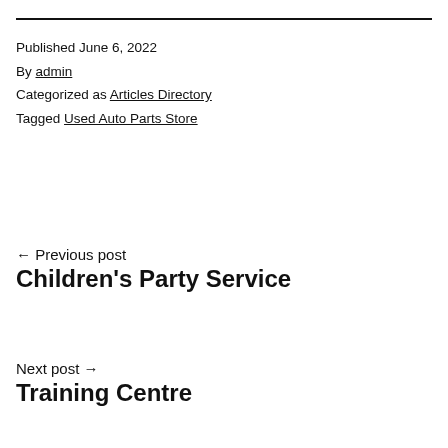Published June 6, 2022
By admin
Categorized as Articles Directory
Tagged Used Auto Parts Store
← Previous post
Children's Party Service
Next post →
Training Centre